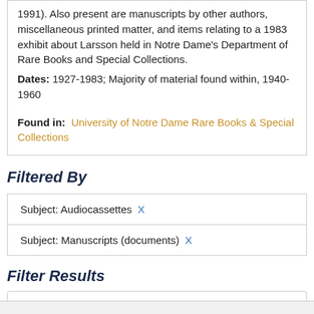1991). Also present are manuscripts by other authors, miscellaneous printed matter, and items relating to a 1983 exhibit about Larsson held in Notre Dame's Department of Rare Books and Special Collections. Dates: 1927-1983; Majority of material found within, 1940-1960 Found in: University of Notre Dame Rare Books & Special Collections
Filtered By
Subject: Audiocassettes X
Subject: Manuscripts (documents) X
Filter Results
Search within results